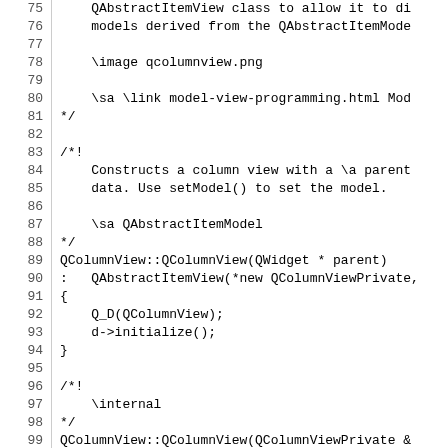Source code listing lines 75-105, QColumnView implementation in C++
75:     QAbstractItemView class to allow it to di
76:     models derived from the QAbstractItemMode
77: (blank)
78:     \image qcolumnview.png
79: (blank)
80:     \sa \link model-view-programming.html Mod
81: */
82: (blank)
83: /*!
84:     Constructs a column view with a \a parent
85:     data. Use setModel() to set the model.
86: (blank)
87:     \sa QAbstractItemModel
88: */
89: QColumnView::QColumnView(QWidget * parent)
90: :   QAbstractItemView(*new QColumnViewPrivate,
91: {
92:     Q_D(QColumnView);
93:     d->initialize();
94: }
95: (blank)
96: /*!
97:     \internal
98: */
99: QColumnView::QColumnView(QColumnViewPrivate &
100: :   QAbstractItemView(dd, parent)
101: {
102:     Q_D(QColumnView);
103:     d->initialize();
104: }
105: (blank)